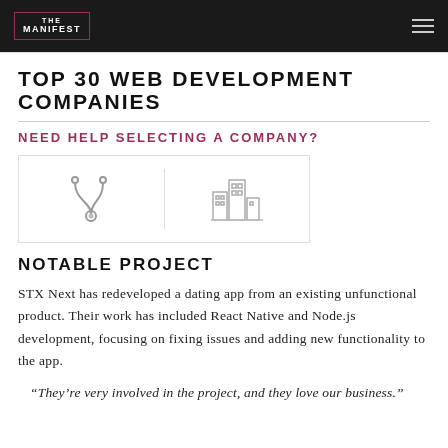THE MANIFEST
TOP 30 WEB DEVELOPMENT COMPANIES
NEED HELP SELECTING A COMPANY?
[Figure (illustration): Two icons side by side: a stethoscope icon and a bar chart / buildings icon, inside a bordered container]
NOTABLE PROJECT
STX Next has redeveloped a dating app from an existing unfunctional product. Their work has included React Native and Node.js development, focusing on fixing issues and adding new functionality to the app.
“They’re very involved in the project, and they love our business.”